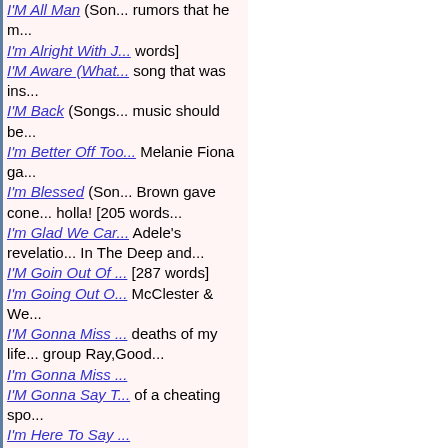I'M All Man (Son... rumors that he m...
I'm Alright With J... words]
I'M Aware (What... song that was ins...
I'M Back (Songs... music should be...
I'm Better Off Too... Melanie Fiona ga...
I'm Blessed (Son... Brown gave cone... holla! [205 words...
I'm Glad We Car... Adele's revelatio... In The Deep and...
I'M Goin Out Of ... [287 words]
I'm Going Out O... McClester & We...
I'M Gonna Miss ... deaths of my life... group Ray,Good...
I'm Gonna Miss ...
I'M Gonna Say T... of a cheating spo...
I'm Here To Say...
I'm Human Too...